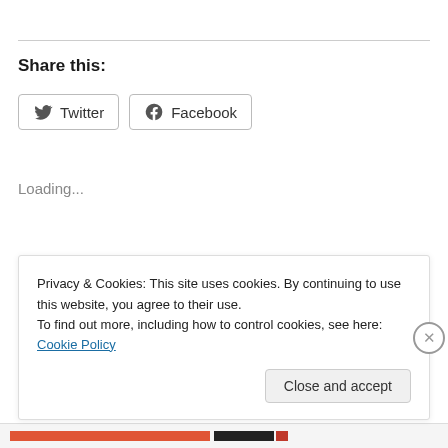Share this:
Twitter  Facebook
Loading...
Leave a Reply
Privacy & Cookies: This site uses cookies. By continuing to use this website, you agree to their use.
To find out more, including how to control cookies, see here: Cookie Policy
Close and accept